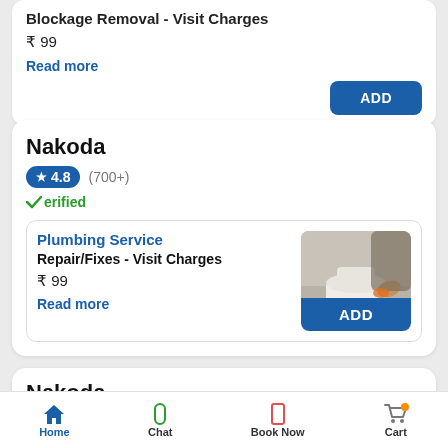Blockage Removal - Visit Charges
₹ 99
Read more
ADD
Nakoda
★ 4.8  (700+)
✓Verified
Plumbing Service
Repair/Fixes - Visit Charges
₹ 99
Read more
[Figure (photo): Plumber working on a toilet/WC installation]
ADD
Nakoda
★ 4.8  (700+)
✓Verified
Home  Chat  Book Now  Cart